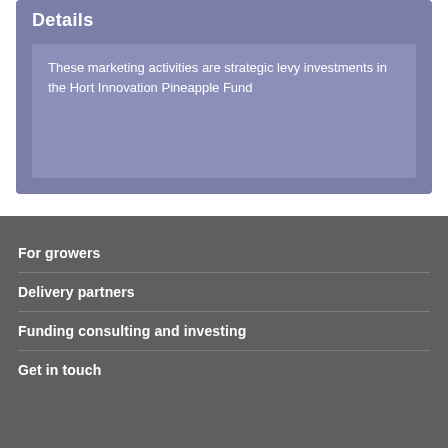Details
These marketing activities are strategic levy investments in the Hort Innovation Pineapple Fund
For growers
Delivery partners
Funding consulting and investing
Get in touch